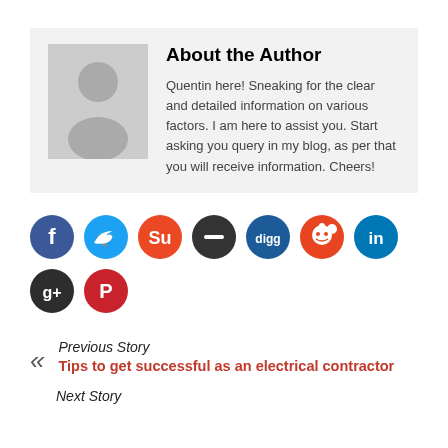About the Author
Quentin here! Sneaking for the clear and detailed information on various factors. I am here to assist you. Start asking you query in my blog, as per that you will receive information. Cheers!
[Figure (infographic): Row of social media icon buttons: Facebook, Twitter, StumbleUpon, minus/dash, Digg, Reddit, LinkedIn, Google+, Pinterest]
Previous Story
Tips to get successful as an electrical contractor
Next Story